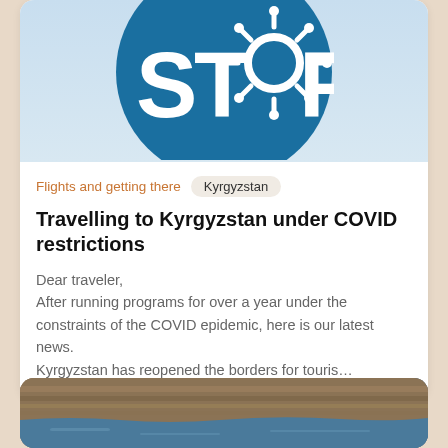[Figure (illustration): Blue circular stop sign with 'STOP' text in white and a coronavirus/COVID particle icon replacing the letter O]
Flights and getting there
Kyrgyzstan
Travelling to Kyrgyzstan under COVID restrictions
Dear traveler,
After running programs for over a year under the constraints of the COVID epidemic, here is our latest news.
Kyrgyzstan has reopened the borders for touris…
[Figure (photo): Landscape photo of rocky canyon cliffs with a blue lake or river at the base, appearing to be a scenic natural location in Kyrgyzstan]